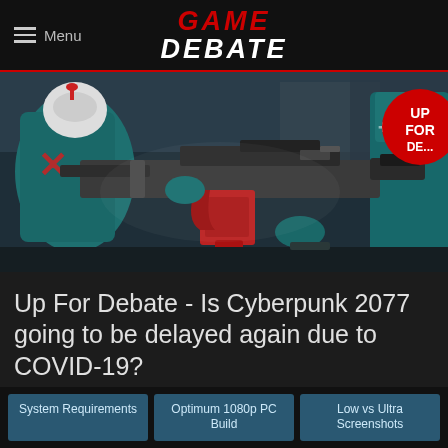GAME DEBATE — Menu
[Figure (photo): Cyberpunk 2077 promotional image showing an armored soldier in teal outfit holding a large red and black futuristic assault rifle. Red circle badge in upper right reading UP FOR DEBATE.]
Up For Debate - Is Cyberpunk 2077 going to be delayed again due to COVID-19?
Written by Chad Norton on Sat, Apr 25, 2020 5:00 PM
System Requirements
Optimum 1080p PC Build
Low vs Ultra Screenshots